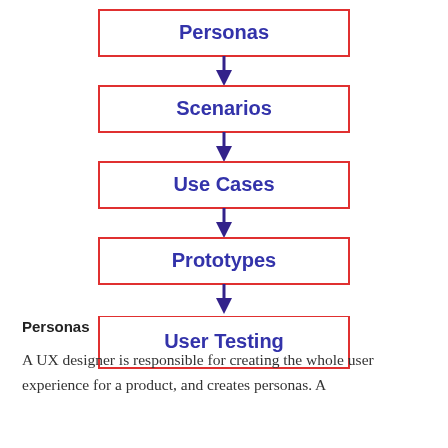[Figure (flowchart): Vertical flowchart with 5 steps connected by downward arrows: Personas → Scenarios → Use Cases → Prototypes → User Testing. Each step is in a red-bordered rectangle with bold blue text. Arrows are dark purple/navy.]
Personas
A UX designer is responsible for creating the whole user experience for a product, and creates personas. A